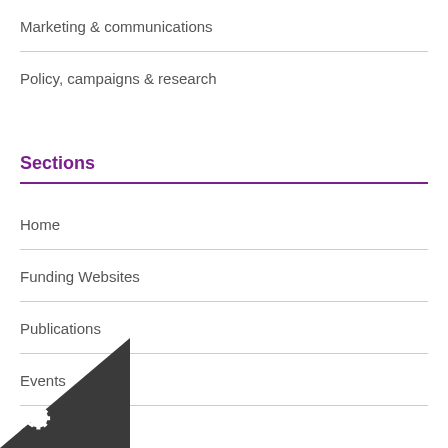Marketing & communications
Policy, campaigns & research
Sections
Home
Funding Websites
Publications
Events
Charity Training
House Services